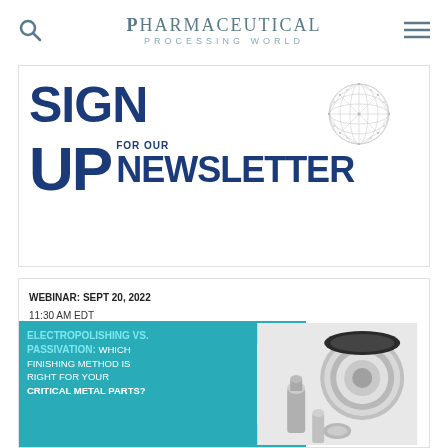Pharmaceutical Processing World
[Figure (infographic): Sign Up For Our Newsletter banner with globe graphic and large dark blue bold text reading SIGN UP FOR OUR NEWSLETTER]
[Figure (infographic): Webinar advertisement: WEBINAR: SEPT 20, 2022 11:30 AM EDT. Electropolishing vs. Passivation: Which Finishing Method Is Right For Your Critical Metal Parts? Teal/aqua background with metal parts photo on right.]